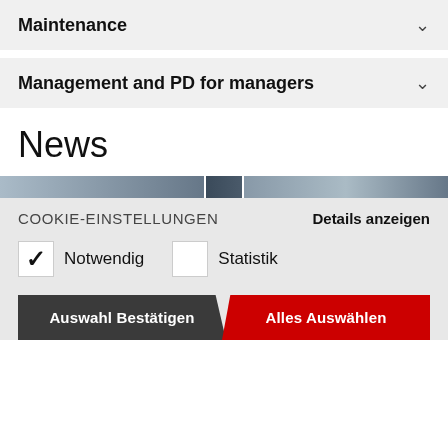Maintenance
Management and PD for managers
News
[Figure (photo): Three news image thumbnails partially visible at the top of the news section]
COOKIE-EINSTELLUNGEN    Details anzeigen
✓ Notwendig    □ Statistik
Auswahl Bestätigen    Alles Auswählen